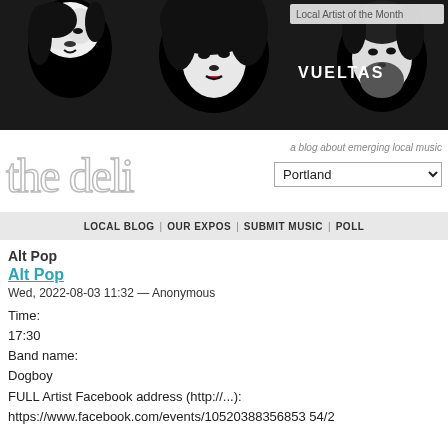[Figure (photo): Black and white high-contrast banner photo showing three band members of VUELTAS against a textured background, with 'Local Artist of the Month' label in the top right and 'VUELTAS' text overlaid]
[Figure (logo): The Deli logo in thin serif/outline font with subtitle 'a blog about emerging local music' and a Portland dropdown selector]
LOCAL BLOG | OUR EXPOS | SUBMIT MUSIC | POLL
Alt Pop
Alt Pop
Wed, 2022-08-03 11:32 — Anonymous
Time:
17:30
Band name:
Dogboy
FULL Artist Facebook address (http://...):
https://www.facebook.com/events/105203883568535 4/2